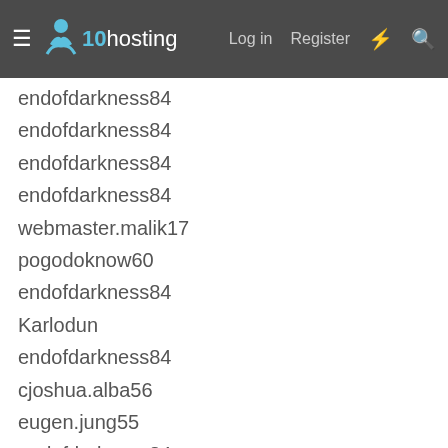x10hosting — Log in  Register
endofdarkness84
endofdarkness84
endofdarkness84
endofdarkness84
webmaster.malik17
pogodoknow60
endofdarkness84
Karlodun
endofdarkness84
cjoshua.alba56
eugen.jung55
endofdarkness84
stpvoice
frozentime1737
Andrew35133
endofdarkness84
spicylife40
endofdarkness84
endofdarkness84